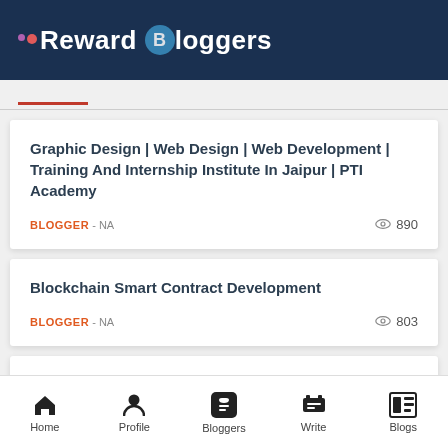Reward Bloggers
Graphic Design | Web Design | Web Development | Training And Internship Institute In Jaipur | PTI Academy
BLOGGER - NA   890
Blockchain Smart Contract Development
BLOGGER - NA   803
Mobile App Is Necessary For Your Business
Home  Profile  Bloggers  Write  Blogs